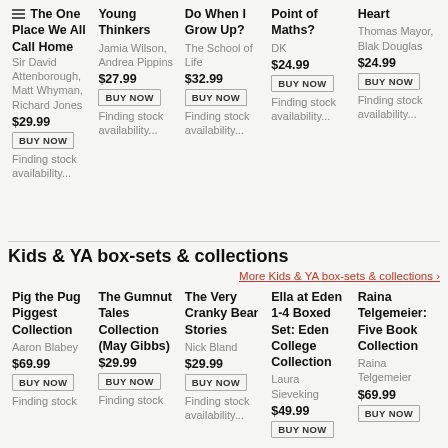The One Place We All Call Home — Sir David Attenborough, Matt Whyman, Richard Jones — $29.99 — BUY NOW — Finding stock availability...
Young Thinkers — Jamia Wilson, Andrea Pippins — $27.99 — BUY NOW — Finding stock availability...
Do When I Grow Up? — The School of Life — $32.99 — BUY NOW — Finding stock availability...
Point of Maths? — DK — $24.99 — BUY NOW — Finding stock availability...
Heart — Thomas Mayor, Blak Douglas — $24.99 — BUY NOW — Finding stock availability...
Kids & YA box-sets & collections
More Kids & YA box-sets & collections ›
Pig the Pug Piggest Collection — Aaron Blabey — $69.99 — BUY NOW — Finding stock...
The Gumnut Tales Collection (May Gibbs) — $29.99 — BUY NOW — Finding stock
The Very Cranky Bear Stories — Nick Bland — $29.99 — BUY NOW — Finding stock availability...
Ella at Eden 1-4 Boxed Set: Eden College Collection — Laura Sieveking — $49.99 — BUY NOW
Raina Telgemeier: Five Book Collection — Raina Telgemeier — $69.99 — BUY NOW